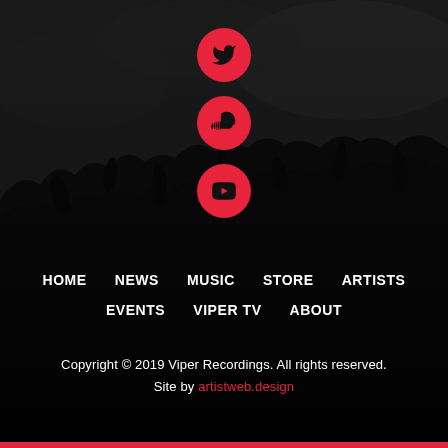[Figure (photo): Dark concert crowd background photo with people raising hands, overlaid with dark gradient]
[Figure (illustration): Twitter bird icon in red circle]
[Figure (illustration): SoundCloud icon in red circle]
[Figure (illustration): YouTube play button icon in red circle]
HOME
NEWS
MUSIC
STORE
ARTISTS
EVENTS
VIPER TV
ABOUT
Copyright © 2019 Viper Recordings. All rights reserved.
Site by artistweb.design